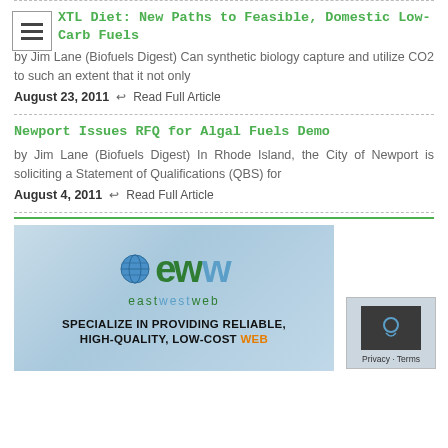XTL Diet: New Paths to Feasible, Domestic Low-Carb Fuels
by Jim Lane (Biofuels Digest)  Can synthetic biology capture and utilize CO2 to such an extent that it not only
August 23, 2011  ↩ Read Full Article
Newport Issues RFQ for Algal Fuels Demo
by Jim Lane (Biofuels Digest)  In Rhode Island, the City of Newport is soliciting a Statement of Qualifications (QBS) for
August 4, 2011  ↩ Read Full Article
[Figure (logo): East West Web advertisement banner with globe logo, 'ew' text logo, 'eastwestweb' branding, and text 'SPECIALIZE IN PROVIDING RELIABLE, HIGH-QUALITY, LOW-COST WEB']